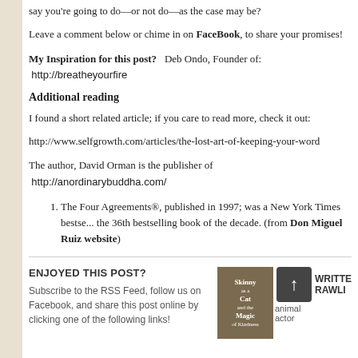say you're going to do—or not do—as the case may be?
Leave a comment below or chime in on FaceBook, to share your promises!
My Inspiration for this post?  Deb Ondo, Founder of:  http://breatheyourfire
Additional reading
I found a short related article; if you care to read more, check it out:
http://www.selfgrowth.com/articles/the-lost-art-of-keeping-your-word
The author, David Orman is the publisher of  http://anordinarybuddha.com/
The Four Agreements®, published in 1997; was a New York Times bestse... the 36th bestselling book of the decade. (from Don Miguel Ruiz website)
ENJOYED THIS POST?
Subscribe to the RSS Feed, follow us on Facebook, and share this post online by clicking one of the following links!
[Figure (photo): Book cover of 'Skinny Cat and the Magic of Kindness']
WRITTE RAWLI animal actor